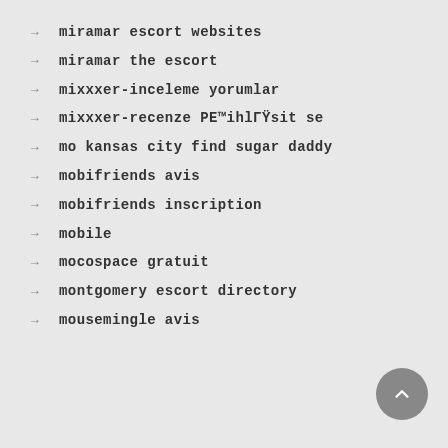miramar escort websites
miramar the escort
mixxxer-inceleme yorumlar
mixxxer-recenze PE™ihlГŸsit se
mo kansas city find sugar daddy
mobifriends avis
mobifriends inscription
mobile
mocospace gratuit
montgomery escort directory
mousemingle avis